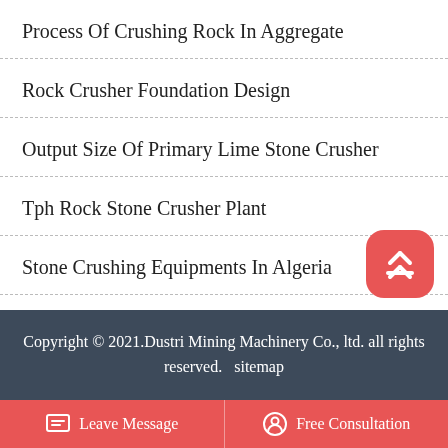Process Of Crushing Rock In Aggregate
Rock Crusher Foundation Design
Output Size Of Primary Lime Stone Crusher
Tph Rock Stone Crusher Plant
Stone Crushing Equipments In Algeria
Copyright © 2021.Dustri Mining Machinery Co., ltd. all rights reserved.  sitemap
Leave Message   Free Consultation